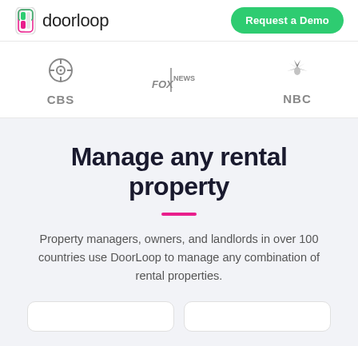[Figure (logo): DoorLoop logo with phone icon and wordmark]
[Figure (logo): Request a Demo green button]
[Figure (logo): CBS logo]
[Figure (logo): Fox News logo]
[Figure (logo): NBC peacock logo]
Manage any rental property
Property managers, owners, and landlords in over 100 countries use DoorLoop to manage any combination of rental properties.